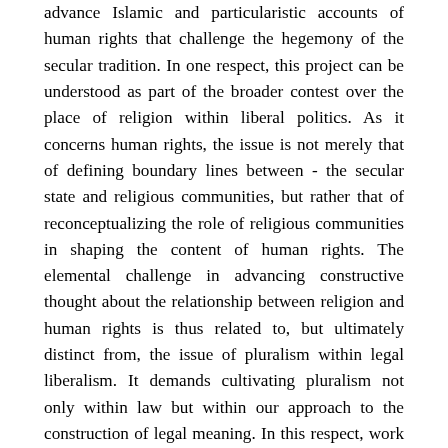advance Islamic and particularistic accounts of human rights that challenge the hegemony of the secular tradition. In one respect, this project can be understood as part of the broader contest over the place of religion within liberal politics. As it concerns human rights, the issue is not merely that of defining boundary lines between - the secular state and religious communities, but rather that of reconceptualizing the role of religious communities in shaping the content of human rights. The elemental challenge in advancing constructive thought about the relationship between religion and human rights is thus related to, but ultimately distinct from, the issue of pluralism within legal liberalism. It demands cultivating pluralism not only within law but within our approach to the construction of legal meaning. In this respect, work in the area of human rights is part of a larger project of defining the relationship between normative theology and secular jurisprudence. This in turn implicates the meaning of the secular, and in particular, secular law. Rather than considering this issue from the perspective of constitutional law or applied jurisprudence, it is useful to turn to